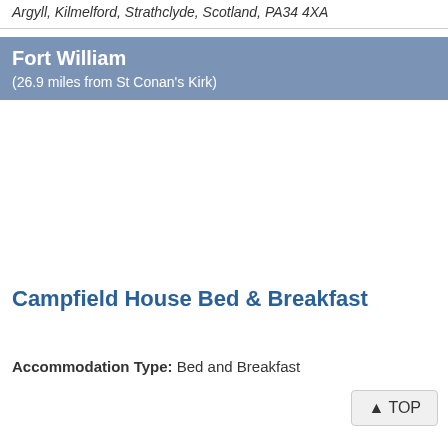Argyll, Kilmelford, Strathclyde, Scotland, PA34 4XA
Fort William
(26.9 miles from St Conan's Kirk)
Campfield House Bed & Breakfast
Accommodation Type: Bed and Breakfast